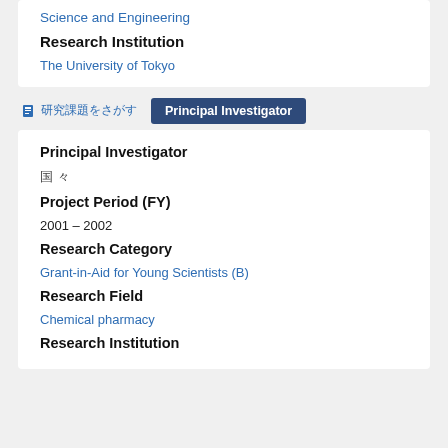Research Institution
The University of Tokyo
Principal Investigator (tab)
Principal Investigator
国 々
Project Period (FY)
2001 – 2002
Research Category
Grant-in-Aid for Young Scientists (B)
Research Field
Chemical pharmacy
Research Institution